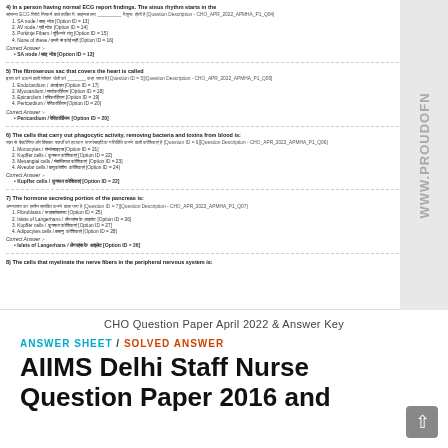[Figure (screenshot): Scanned/rendered document page showing CHO Question Paper April 2022 with questions 4-8, options in English and Hindi, correct answers, and a watermark 'WWW.PROUDOFN' on the right side.]
CHO Question Paper April 2022 & Answer Key
ANSWER SHEET / SOLVED ANSWER
AIIMS Delhi Staff Nurse Question Paper 2016 and